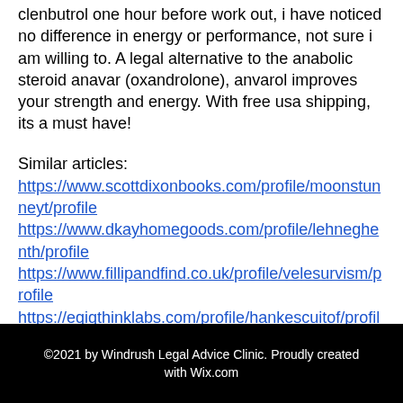clenbutrol one hour before work out, i have noticed no difference in energy or performance, not sure i am willing to. A legal alternative to the anabolic steroid anavar (oxandrolone), anvarol improves your strength and energy. With free usa shipping, its a must have!
Similar articles: https://www.scottdixonbooks.com/profile/moonstunneyt/profile https://www.dkayhomegoods.com/profile/lehneghenth/profile https://www.fillipandfind.co.uk/profile/velesurvism/profile https://eqiqthinklabs.com/profile/hankescuitof/profile
©2021 by Windrush Legal Advice Clinic. Proudly created with Wix.com